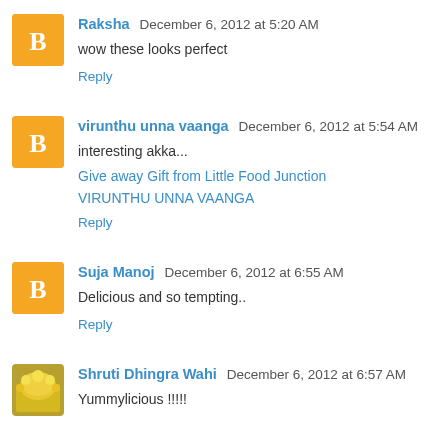Raksha  December 6, 2012 at 5:20 AM
wow these looks perfect
Reply
virunthu unna vaanga  December 6, 2012 at 5:54 AM
interesting akka...
Give away Gift from Little Food Junction
VIRUNTHU UNNA VAANGA
Reply
Suja Manoj  December 6, 2012 at 6:55 AM
Delicious and so tempting..
Reply
Shruti Dhingra Wahi  December 6, 2012 at 6:57 AM
Yummylicious !!!!!